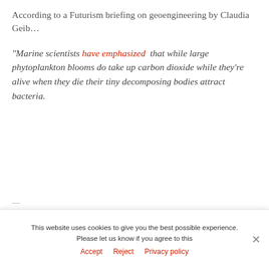According to a Futurism briefing on geoengineering by Claudia Geib…
“Marine scientists have emphasized  that while large phytoplankton blooms do take up carbon dioxide while they’re alive when they die their tiny decomposing bodies attract bacteria.
— [partial line cut off]
This website uses cookies to give you the best possible experience. Please let us know if you agree to this
Accept   Reject   Privacy policy